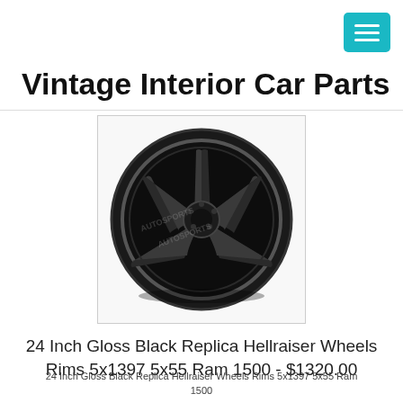[Figure (logo): Teal/cyan hamburger menu button with three white horizontal lines on top right corner]
Vintage Interior Car Parts
[Figure (photo): 24 inch gloss black 5-spoke replica Hellraiser wheel rim on white background with watermark]
24 Inch Gloss Black Replica Hellraiser Wheels Rims 5x1397 5x55 Ram 1500 - $1320.00
24 Inch Gloss Black Replica Hellraiser Wheels Rims 5x1397 5x55 Ram 1500